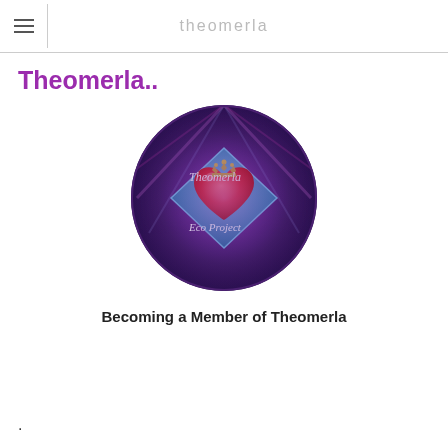theomerla
Theomerla..
[Figure (logo): Circular logo with purple/violet background featuring a blue diamond shape in the center. Inside the diamond is a red heart with a small crown above it. Text reads 'Theomerla' in white script at the top and 'Eco Project' in white script at the bottom of the diamond.]
Becoming a Member of Theomerla
.